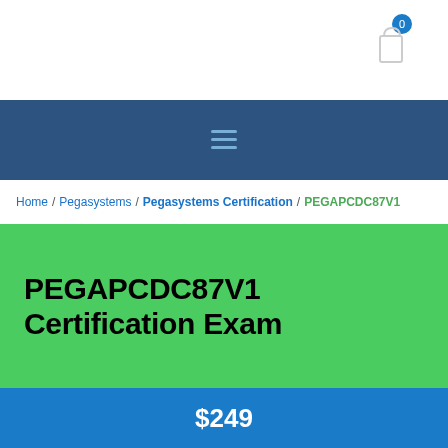[Figure (screenshot): Cart icon with badge showing 0]
[Figure (screenshot): Hamburger/menu icon on dark blue navigation bar]
Home / Pegasystems / Pegasystems Certification / PEGAPCDC87V1
PEGAPCDC87V1 Certification Exam
$249
ADD TO CART